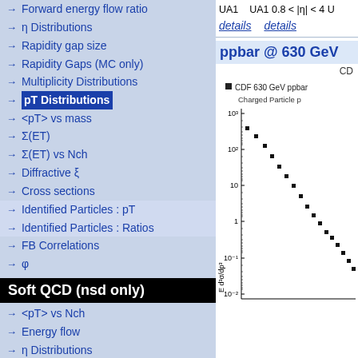→ Forward energy flow ratio
→ η Distributions
→ Rapidity gap size
→ Rapidity Gaps (MC only)
→ Multiplicity Distributions
→ pT Distributions (highlighted)
→ <pT> vs mass
→ Σ(ET)
→ Σ(ET) vs Nch
→ Diffractive ξ
→ Cross sections
→ Identified Particles : pT
→ Identified Particles : Ratios
→ FB Correlations
→ φ
Soft QCD (nsd only)
→ <pT> vs Nch
→ Energy flow
→ η Distributions
→ Multiplicity Distributions
→ pT Distributions
→ Identified Particles : Y
→ Identified Particles : pT
UA1   UA1 0.8 < |η| < 4 U
details    details
ppbar @ 630 GeV
CD
[Figure (continuous-plot): Logarithmic scatter plot of E d³σ/dp³ vs pT for CDF 630 GeV ppbar data. Y-axis ranges from 10^-2 to 10^3. Data points (filled squares) decrease steeply from ~30 at low pT to ~10^-2 at high pT. Label: Charged Particle p]